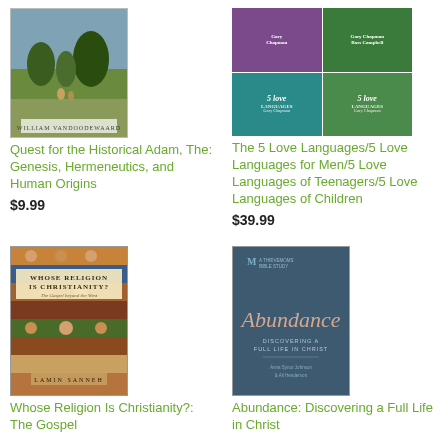[Figure (photo): Book cover: The Quest for the Historical Adam by William VanDoodewaard — landscape painting with figures]
Quest for the Historical Adam, The: Genesis, Hermeneutics, and Human Origins
$9.99
[Figure (photo): Four book covers: The 5 Love Languages, 5 Love Languages for Men, 5 Love Languages of Teenagers, 5 Love Languages of Children by Gary Chapman]
The 5 Love Languages/5 Love Languages for Men/5 Love Languages of Teenagers/5 Love Languages of Children
$39.99
[Figure (photo): Book cover: Whose Religion Is Christianity? The Gospel beyond the West by Lamin Sanneh — mosaic of faces]
Whose Religion Is Christianity?: The Gospel
[Figure (photo): Book cover: Abundance: Discovering a Full Life in Christ — dark blue cover with script title]
Abundance: Discovering a Full Life in Christ